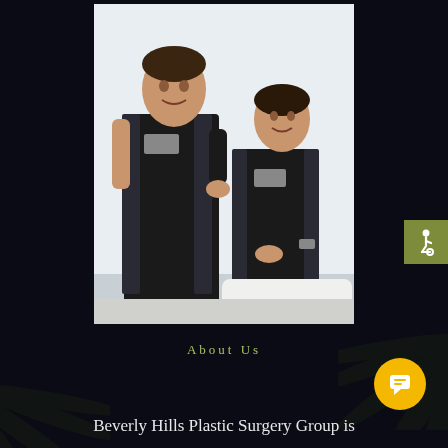[Figure (photo): Two male plastic surgeons in black medical scrubs posing in a clinical setting. One stands with hand on hip, the other sits on a white examination surface. Both are smiling and wearing watches.]
About Us
Beverly Hills Plastic Surgery Group is